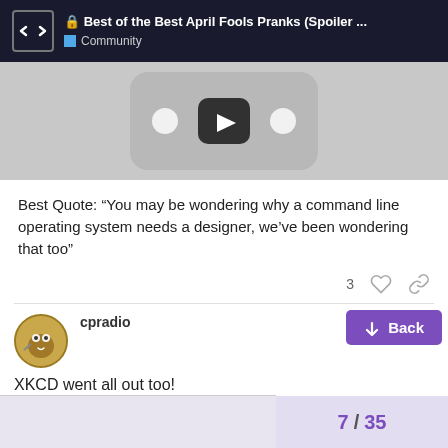Best of the Best April Fools Pranks (Spoiler ... Community
[Figure (screenshot): A blurred/grayed screenshot of what appears to be a device or video player with a play button in the center]
Best Quote: “You may be wondering why a command line operating system needs a designer, we’ve been wondering that too”
cpradio   Apr '15  #8
XKCD went all out too!
7 / 35